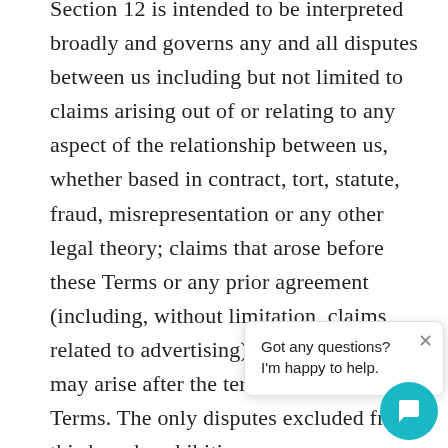Section 12 is intended to be interpreted broadly and governs any and all disputes between us including but not limited to claims arising out of or relating to any aspect of the relationship between us, whether based in contract, tort, statute, fraud, misrepresentation or any other legal theory; claims that arose before these Terms or any prior agreement (including, without limitation, claims related to advertising), and claims that may arise after the termination of these Terms. The only disputes excluded from this broad prohibition